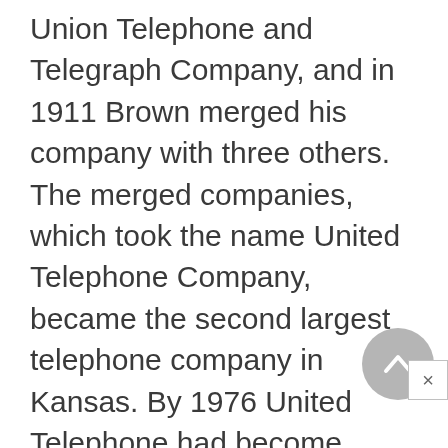Union Telephone and Telegraph Company, and in 1911 Brown merged his company with three others. The merged companies, which took the name United Telephone Company, became the second largest telephone company in Kansas. By 1976 United Telephone had become United Telecommunications, a system that served more than 3.5 million local telephone customers coast to coast, and in 1990 it became Sprint.